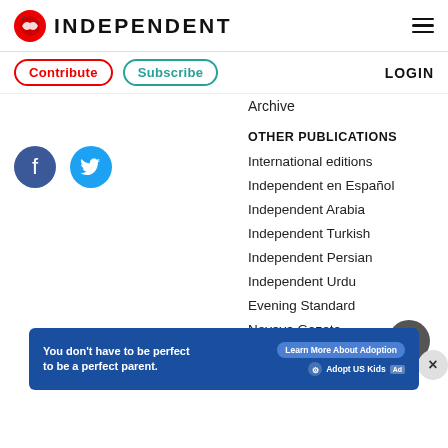INDEPENDENT
Contribute  Subscribe  LOGIN
[Figure (logo): Facebook circle icon]
[Figure (logo): Twitter circle icon]
Archive
OTHER PUBLICATIONS
International editions
Independent en Español
Independent Arabia
Independent Turkish
Independent Persian
Independent Urdu
Evening Standard
Novaya Gazeta
[Figure (infographic): Advertisement banner: You don't have to be perfect to be a perfect parent. Learn More About Adoption. Adopt US Kids.]